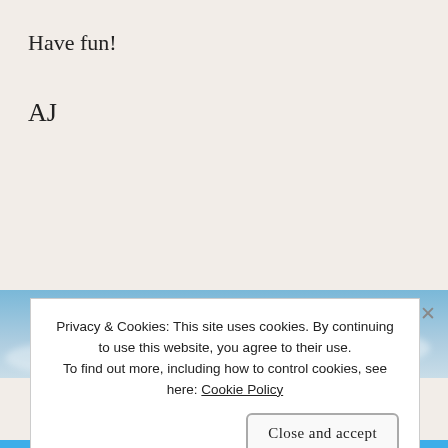Have fun!
AJ
[Figure (photo): Sky with clouds banner image]
[Figure (illustration): Pin / pushpin circular icon]
Posted on February 25, 2020 16 Comments
Privacy & Cookies: This site uses cookies. By continuing to use this website, you agree to their use. To find out more, including how to control cookies, see here: Cookie Policy
Close and accept